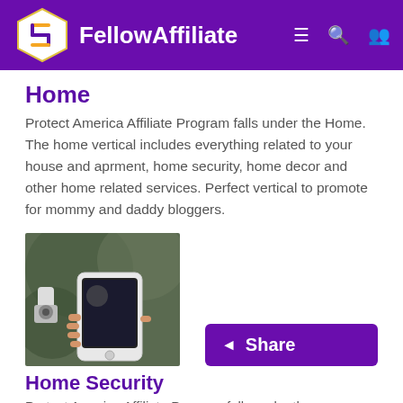FellowAffiliate
Home
Protect America Affiliate Program falls under the Home. The home vertical includes everything related to your house and aprment, home security, home decor and other home related services. Perfect vertical to promote for mommy and daddy bloggers.
[Figure (photo): Hand holding a smartphone near a home security camera device mounted outside]
Home Security
Protect America Affiliate Program falls under the